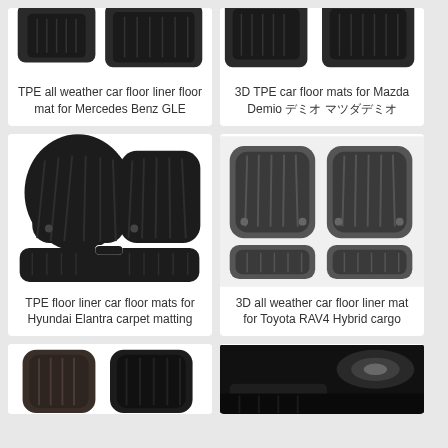[Figure (photo): Car floor mats for Mercedes Benz GLE, TPE all weather liner, black, shown partially cropped at top]
TPE all weather car floor liner floor mat for Mercedes Benz GLE
[Figure (photo): 3D TPE car floor mats for Mazda Demio, black, shown partially cropped at top]
3D TPE car floor mats for Mazda Demio デミオ マツダデミオ
[Figure (photo): TPE floor liner car floor mats for Hyundai Elantra carpet matting, full set shown]
TPE floor liner car floor mats for Hyundai Elantra carpet matting
[Figure (photo): 3D all weather car floor liner mat for Toyota RAV4 Hybrid cargo, full set shown]
3D all weather car floor liner mat for Toyota RAV4 Hybrid cargo
[Figure (photo): Car floor mats, partial view, bottom of page, left card]
[Figure (photo): Car interior with floor mat, partial view, bottom of page, right card]